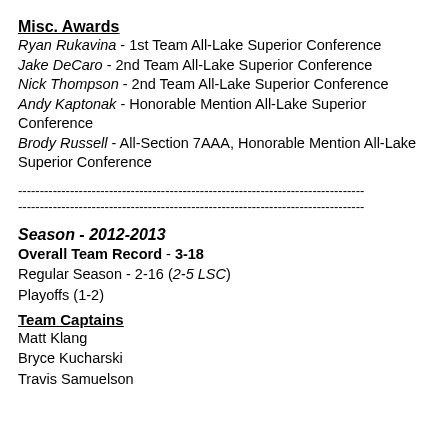Misc. Awards
Ryan Rukavina - 1st Team All-Lake Superior Conference
Jake DeCaro - 2nd Team All-Lake Superior Conference
Nick Thompson - 2nd Team All-Lake Superior Conference
Andy Kaptonak - Honorable Mention All-Lake Superior Conference
Brody Russell - All-Section 7AAA, Honorable Mention All-Lake Superior Conference
Season - 2012-2013
Overall Team Record - 3-18
Regular Season - 2-16 (2-5 LSC)
Playoffs (1-2)
Team Captains
Matt Klang
Bryce Kucharski
Travis Samuelson